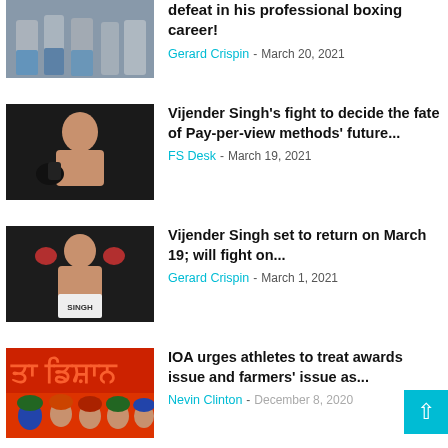[Figure (photo): Boxing weigh-in photo showing shirtless fighters posing on stage]
defeat in his professional boxing career!
Gerard Crispin - March 20, 2021
[Figure (photo): Vijender Singh posing in boxing gloves]
Vijender Singh's fight to decide the fate of Pay-per-view methods' future...
FS Desk - March 19, 2021
[Figure (photo): Vijender Singh celebrating with arms raised in boxing ring wearing Singh shorts]
Vijender Singh set to return on March 19; will fight on...
Gerard Crispin - March 1, 2021
[Figure (photo): Crowd scene with men wearing turbans, red text in background]
IOA urges athletes to treat awards issue and farmers' issue as...
Nevin Clinton - December 8, 2020